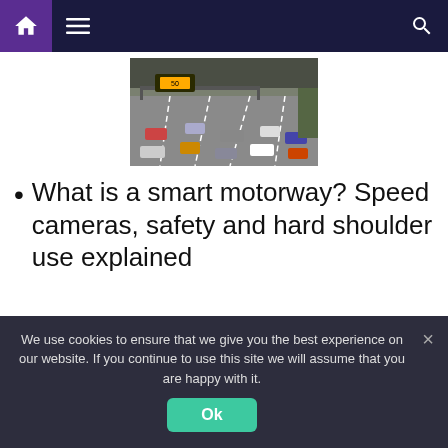Navigation bar with home, menu, and search icons
[Figure (photo): Aerial/overhead view of a motorway with multiple lanes of slow-moving traffic, cars and trucks, overhead gantry with yellow signs, taken from a traffic camera]
What is a smart motorway? Speed cameras, safety and hard shoulder use explained
Stretches of road that saw rises in serious collisions — which Highways England
We use cookies to ensure that we give you the best experience on our website. If you continue to use this site we will assume that you are happy with it.